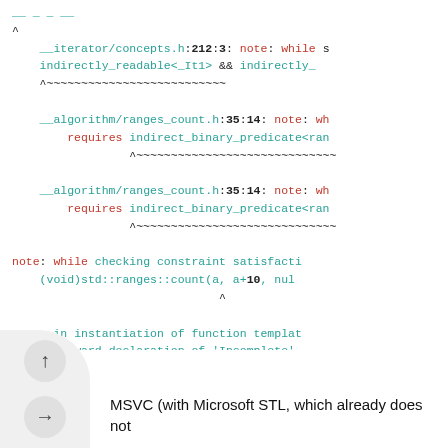[Figure (screenshot): Code editor / terminal screenshot showing compiler error output with colored text: file paths in teal, line numbers in bold, 'note:' labels and keywords in red/teal, caret annotations, and a final '1 error generated.' message.]
MSVC (with Microsoft STL, which already does not